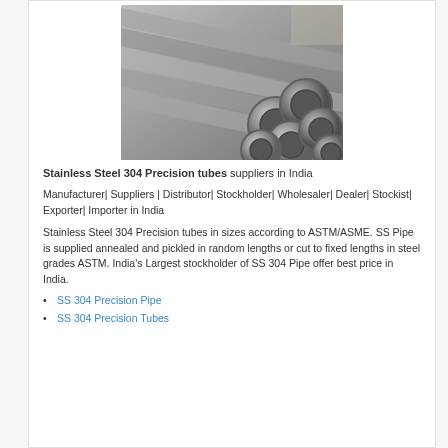[Figure (photo): Stainless steel 304 precision tubes stacked together showing circular cross-sections, photographed from an angle in a warehouse or yard setting.]
Stainless Steel 304 Precision tubes suppliers in India
Manufacturer| Suppliers | Distributor| Stockholder| Wholesaler| Dealer| Stockist| Exporter| Importer in India
Stainless Steel 304 Precision tubes in sizes according to ASTM/ASME. SS Pipe is supplied annealed and pickled in random lengths or cut to fixed lengths in steel grades ASTM. India's Largest stockholder of SS 304 Pipe offer best price in India.
SS 304 Precision Pipe
SS 304 Precision Tubes